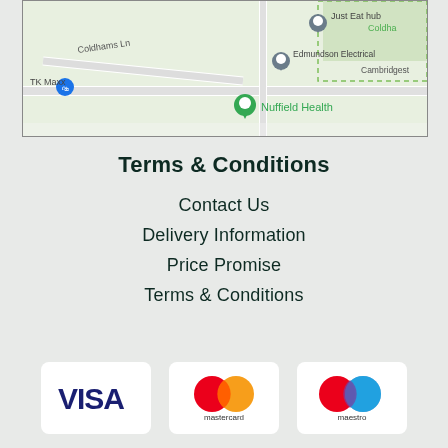[Figure (map): Google Maps screenshot showing area around Coldhams Lane, Cambridge. Landmarks include Just Eat hub, Edmundson Electrical, TK Maxx, Nuffield Health, and Coldhams/Cambridgeshire labels.]
Terms & Conditions
Contact Us
Delivery Information
Price Promise
Terms & Conditions
[Figure (logo): VISA payment logo]
[Figure (logo): Mastercard payment logo]
[Figure (logo): Maestro payment logo]